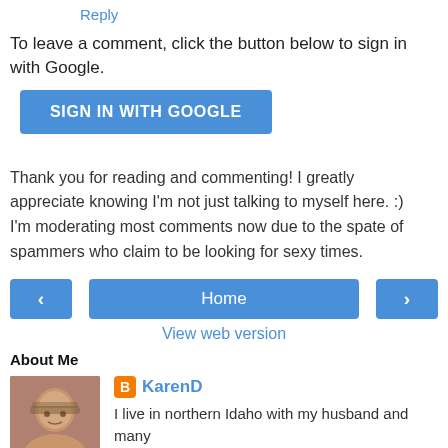Reply
To leave a comment, click the button below to sign in with Google.
SIGN IN WITH GOOGLE
Thank you for reading and commenting! I greatly appreciate knowing I'm not just talking to myself here. :) I'm moderating most comments now due to the spate of spammers who claim to be looking for sexy times.
Home
View web version
About Me
KarenD
I live in northern Idaho with my husband and many